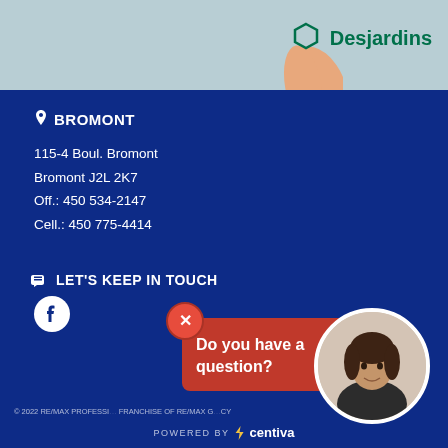[Figure (illustration): Light green banner at top with Desjardins logo (green hexagon and bold green text) on the right, and a decorative hand/arm illustration in the center-right area]
BROMONT
115-4 Boul. Bromont
Bromont J2L 2K7
Off.: 450 534-2147
Cell.: 450 775-4414
LET'S KEEP IN TOUCH
[Figure (logo): Facebook icon (circle with f logo)]
[Figure (illustration): Red popup box with X close button saying 'Do you have a question?' and a circular photo of a woman agent on the right]
© 2022 RE/MAX PROFESSI... FRANCHISE OF RE/MAX G... CY
POWERED BY / centiva